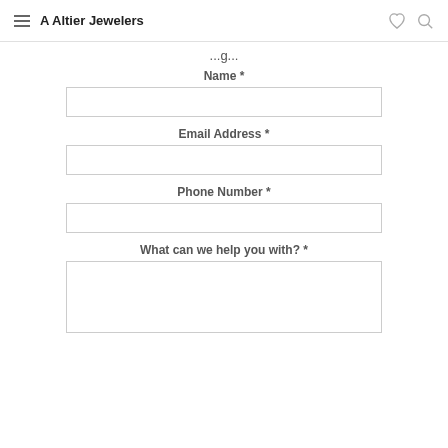A Altier Jewelers
...g...
Name *
Email Address *
Phone Number *
What can we help you with? *